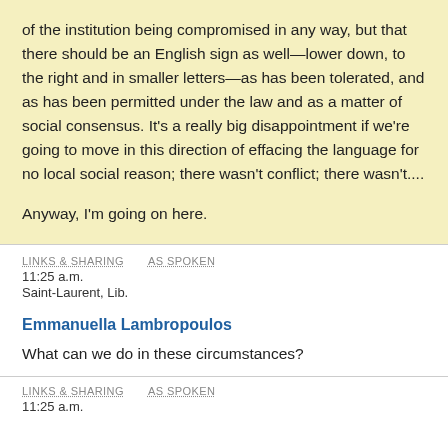of the institution being compromised in any way, but that there should be an English sign as well—lower down, to the right and in smaller letters—as has been tolerated, and as has been permitted under the law and as a matter of social consensus. It's a really big disappointment if we're going to move in this direction of effacing the language for no local social reason; there wasn't conflict; there wasn't....
Anyway, I'm going on here.
LINKS & SHARING    AS SPOKEN
11:25 a.m.
Saint-Laurent, Lib.
Emmanuella Lambropoulos
What can we do in these circumstances?
LINKS & SHARING    AS SPOKEN
11:25 a.m.